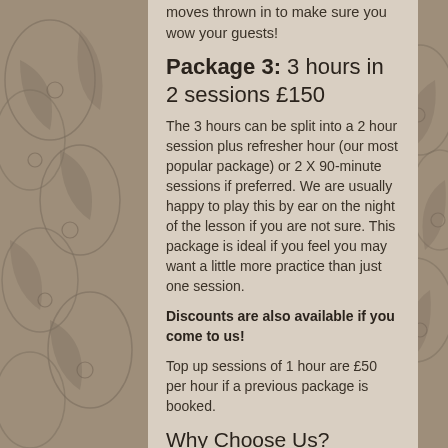moves thrown in to make sure you wow your guests!
Package 3: 3 hours in 2 sessions £150
The 3 hours can be split into a 2 hour session plus refresher hour (our most popular package) or 2 X 90-minute sessions if preferred. We are usually happy to play this by ear on the night of the lesson if you are not sure. This package is ideal if you feel you may want a little more practice than just one session.
Discounts are also available if you come to us!
Top up sessions of 1 hour are £50 per hour if a previous package is booked.
Why Choose Us?